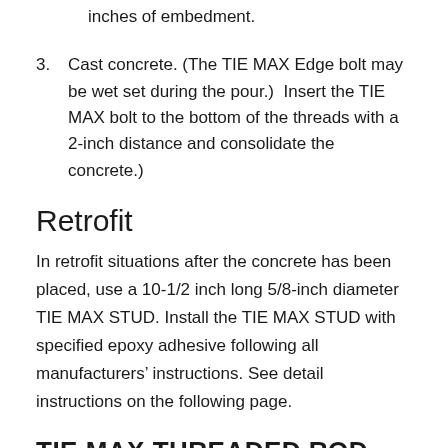inches of embedment.
3. Cast concrete. (The TIE MAX Edge bolt may be wet set during the pour.)  Insert the TIE MAX bolt to the bottom of the threads with a 2-inch distance and consolidate the concrete.)
Retrofit
In retrofit situations after the concrete has been placed, use a 10-1/2 inch long 5/8-inch diameter TIE MAX STUD. Install the TIE MAX STUD with specified epoxy adhesive following all manufacturers’ instructions. See detail instructions on the following page.
TIE MAX THREADED ROD